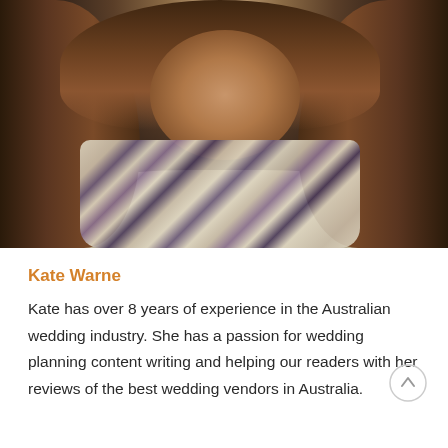[Figure (photo): Portrait photo of a woman with long wavy brown hair wearing a plaid scarf and cream sweater, photographed against a dark background]
Kate Warne
Kate has over 8 years of experience in the Australian wedding industry. She has a passion for wedding planning content writing and helping our readers with her reviews of the best wedding vendors in Australia.